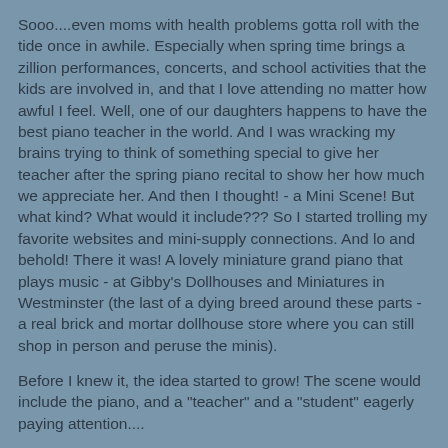Sooo....even moms with health problems gotta roll with the tide once in awhile. Especially when spring time brings a zillion performances, concerts, and school activities that the kids are involved in, and that I love attending no matter how awful I feel. Well, one of our daughters happens to have the best piano teacher in the world. And I was wracking my brains trying to think of something special to give her teacher after the spring piano recital to show her how much we appreciate her. And then I thought! - a Mini Scene! But what kind? What would it include??? So I started trolling my favorite websites and mini-supply connections. And lo and behold! There it was! A lovely miniature grand piano that plays music - at Gibby's Dollhouses and Miniatures in Westminster (the last of a dying breed around these parts - a real brick and mortar dollhouse store where you can still shop in person and peruse the minis).
Before I knew it, the idea started to grow! The scene would include the piano, and a "teacher" and a "student" eagerly paying attention....
Click on the photos to make them super big! :)